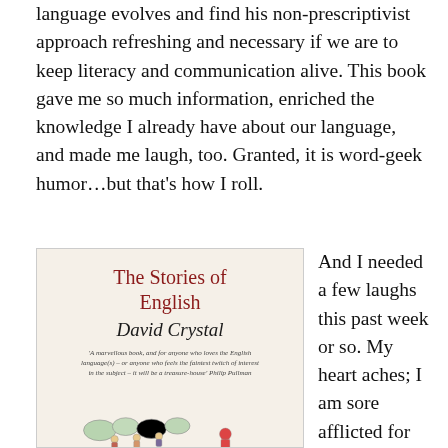language evolves and find his non-prescriptivist approach refreshing and necessary if we are to keep literacy and communication alive. This book gave me so much information, enriched the knowledge I already have about our language, and made me laugh, too. Granted, it is word-geek humor…but that's how I roll.
[Figure (photo): Book cover of 'The Stories of English' by David Crystal, with a quote by Philip Pullman and a decorative illustration at the bottom.]
And I needed a few laughs this past week or so. My heart aches; I am sore afflicted for more reasons than I care to explain at present, though